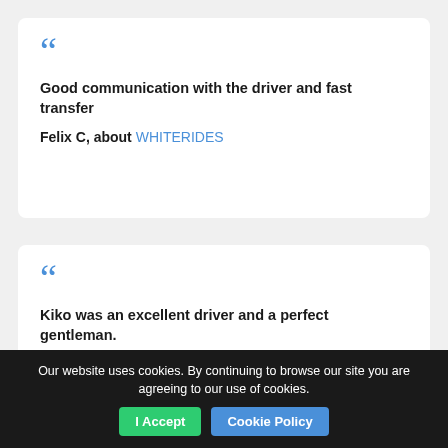Good communication with the driver and fast transfer

Felix C, about WHITERIDES
Kiko was an excellent driver and a perfect gentleman.

Marcello A, about Dream Service
Our website uses cookies. By continuing to browse our site you are agreeing to our use of cookies. I Accept Cookie Policy